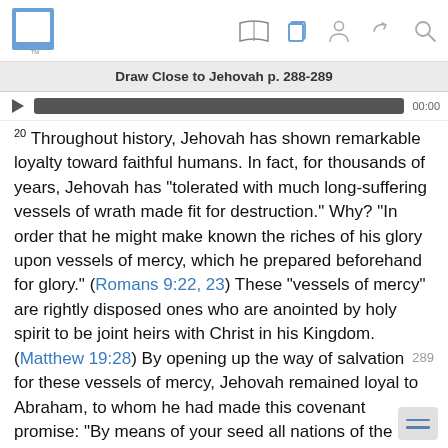Draw Close to Jehovah p. 288-289
20 Throughout history, Jehovah has shown remarkable loyalty toward faithful humans. In fact, for thousands of years, Jehovah has “tolerated with much long-suffering vessels of wrath made fit for destruction.” Why? “In order that he might make known the riches of his glory upon vessels of mercy, which he prepared beforehand for glory.” (Romans 9:22, 23) These “vessels of mercy” are rightly disposed ones who are anointed by holy spirit to be joint heirs with Christ in his Kingdom. (Matthew 19:28) By opening up the way of salvation for these vessels of mercy, Jehovah remained loyal to Abraham, to whom he had made this covenant promise: “By means of your seed all nations of the earth will certainly bless themselves que